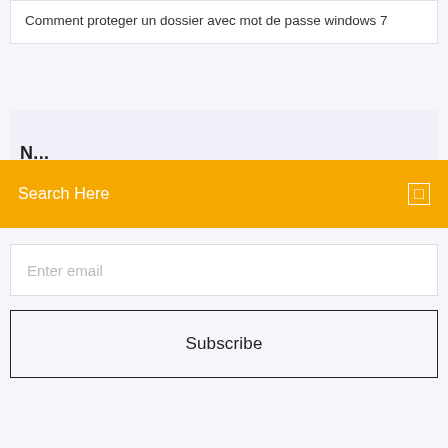Comment proteger un dossier avec mot de passe windows 7
N...
Search Here
Enter email
Subscribe